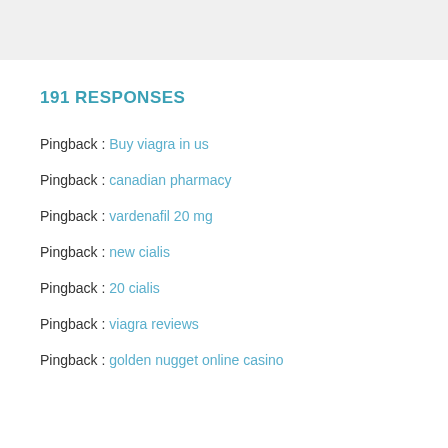[Figure (other): Gray banner/header bar at top of page]
191 RESPONSES
Pingback : Buy viagra in us
Pingback : canadian pharmacy
Pingback : vardenafil 20 mg
Pingback : new cialis
Pingback : 20 cialis
Pingback : viagra reviews
Pingback : golden nugget online casino